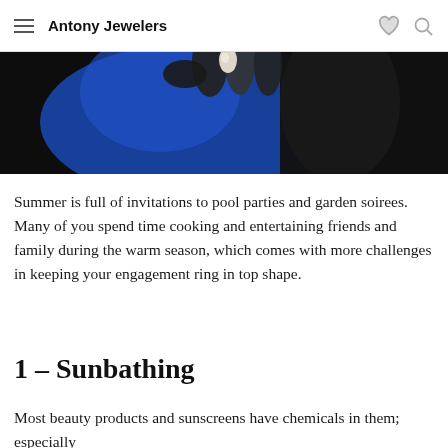Antony Jewelers
[Figure (photo): Close-up photo of a hand holding a small white oval object (likely a gemstone or pearl) against a dark background with blue tones.]
Summer is full of invitations to pool parties and garden soirees.  Many of you spend time cooking and entertaining friends and family during the warm season, which comes with more challenges in keeping your engagement ring in top shape.
1 – Sunbathing
Most beauty products and sunscreens have chemicals in them; especially